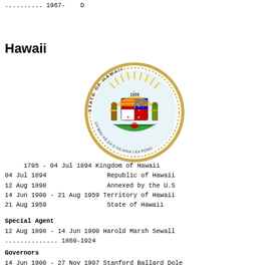.......... 1967-    D
Hawaii
[Figure (illustration): State Seal of Hawaii, circular seal with text 'STATE OF HAWAII' and year '1959', featuring the Hawaiian state coat of arms with the motto 'UA MAU KE EA O KA AINA I KA PONO']
1795 - 04 Jul 1894 Kingdom of Hawaii
04 Jul 1894                Republic of Hawaii
12 Aug 1898                Annexed by the U.S
14 Jun 1900 - 21 Aug 1959 Territory of Hawaii
21 Aug 1959                State of Hawaii
Special Agent
12 Aug 1898 - 14 Jun 1900 Harold Marsh Sewall
.............. 1860-1924
Governors
14 Jun 1900 - 27 Nov 1907 Stanford Ballard Dole